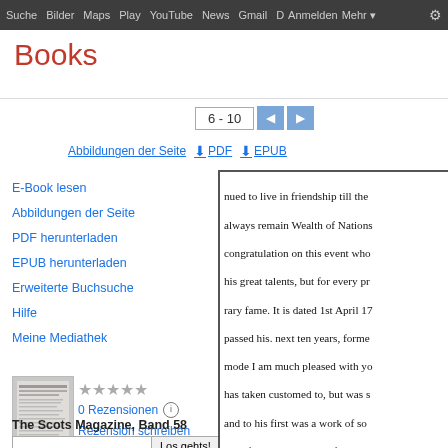Suche  Bilder  Maps  Play  YouTube  News  Gmail  D  Anmelden  Mehr
Books
6 - 10
Abbildungen der Seite   PDF   EPUB
E-Book lesen
Abbildungen der Seite
PDF herunterladen
EPUB herunterladen
Erweiterte Buchsuche
Hilfe
Meine Mediathek
[Figure (photo): Thumbnail of The Scots Magazine book cover]
0 Rezensionen
Rezension schreiben
The Scots Magazine, Band 58
nued to live in friendship till the always remain Wealth of Nations congratulation on this event who his great talents, but for every pr rary fame. It is dated 1st April 17 passed his. next ten years, forme mode I am much pleased with yo has taken customed to, but was s and to his first was a work of so your friends, and by the ficulty h During the whole of this period a but that the reading of it necessa the pubwith his mother at Kirkal study, but un- shall still doubt fo popular. But it has depth, pany